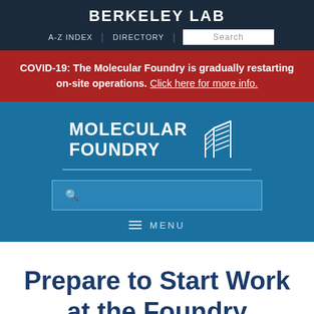BERKELEY LAB
A-Z INDEX | DIRECTORY | Search
COVID-19: The Molecular Foundry is gradually restarting on-site operations. Click here for more info.
[Figure (logo): Molecular Foundry logo with stylized building icon and text MOLECULAR FOUNDRY]
Prepare to Start Work at the Foundry